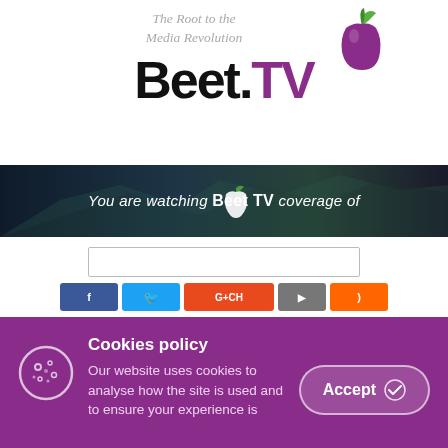[Figure (logo): Beet.TV logo with tagline 'The Root to the Media Revolution' and beet vegetable graphic in purple and green]
[Figure (screenshot): Dark banner reading 'You are watching Beet TV coverage of' with outdoor landscape background]
[Figure (screenshot): Search input box and social media share buttons (Facebook, Twitter, Google+/CH, YouTube, RSS)]
Cookies policy
Our website uses cookies to analyse how the site is used and to ensure your experience is consistent between visits.
Accept and Close ✕
Your browser settings do not allow cross-site tracking for advertising. Click on this page to allow AdRoll to use cross-site tracking to tailor ads to you. Learn more or opt out of this AdRoll tracking by clicking here. This message only appears once.